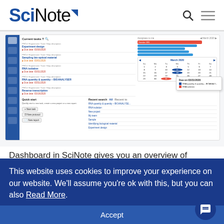[Figure (logo): SciNote logo with blue 'Sci' and black 'Note' text with arrow mark, plus search and menu icons]
[Figure (screenshot): Screenshot of SciNote dashboard showing tasks list, calendar, quick start panel, and recent searches]
Dashboard in SciNote gives you an overview of
This website uses cookies to improve your experience on our website. We'll assume you're ok with this, but you can also Read More.
Accept